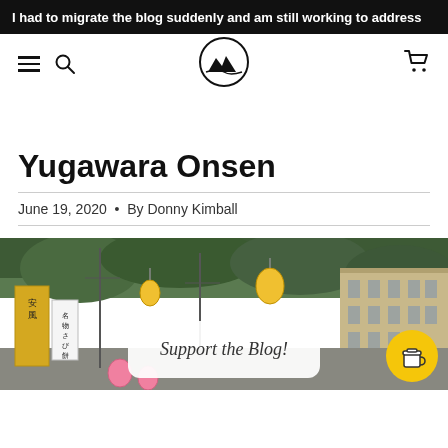I had to migrate the blog suddenly and am still working to address
[Figure (logo): Circular logo with mountain/landscape silhouette inside]
Yugawara Onsen
June 19, 2020 • By Donny Kimball
[Figure (photo): Japanese street scene with lanterns, signs in Japanese, buildings and trees in background. A white popup box says 'Support the Blog!' with a yellow coffee cup button.]